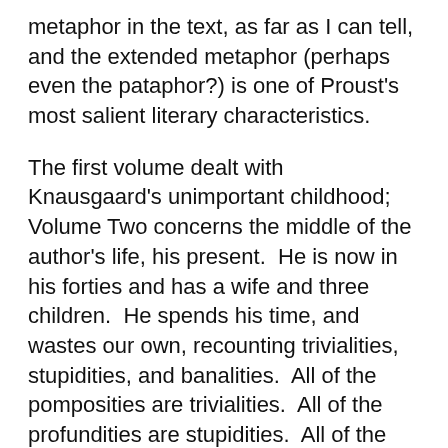metaphor in the text, as far as I can tell, and the extended metaphor (perhaps even the pataphor?) is one of Proust's most salient literary characteristics.
The first volume dealt with Knausgaard's unimportant childhood; Volume Two concerns the middle of the author's life, his present.  He is now in his forties and has a wife and three children.  He spends his time, and wastes our own, recounting trivialities, stupidities, and banalities.  All of the pomposities are trivialities.  All of the profundities are stupidities.  All of the epiphanies are banalities.